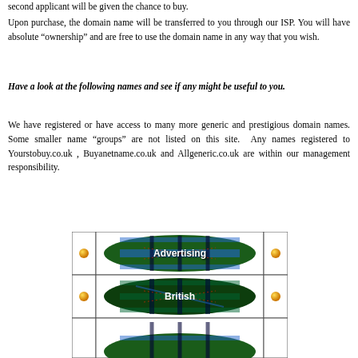second applicant will be given the chance to buy.
Upon purchase, the domain name will be transferred to you through our ISP. You will have absolute “ownership” and are free to use the domain name in any way that you wish.
Have a look at the following names and see if any might be useful to you.
We have registered or have access to many more generic and prestigious domain names. Some smaller name “groups” are not listed on this site.  Any names registered to Yourstobuy.co.uk , Buyanetname.co.uk and Allgeneric.co.uk are within our management responsibility.
[Figure (other): A table with three rows showing tartan-patterned oval buttons labeled 'Advertising', 'British', and a third partially visible one. Each row has an orange bullet dot on the left and right of the oval.]